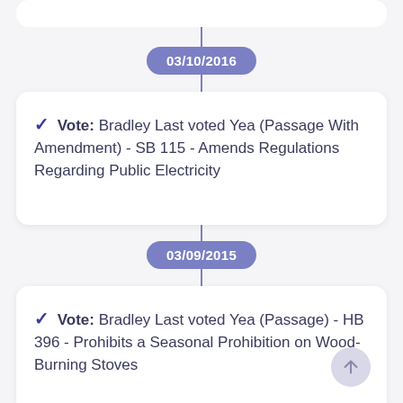[Figure (other): Vertical timeline with date badges and vote cards showing legislative voting history]
03/10/2016
Vote: Bradley Last voted Yea (Passage With Amendment) - SB 115 - Amends Regulations Regarding Public Electricity
03/09/2015
Vote: Bradley Last voted Yea (Passage) - HB 396 - Prohibits a Seasonal Prohibition on Wood-Burning Stoves